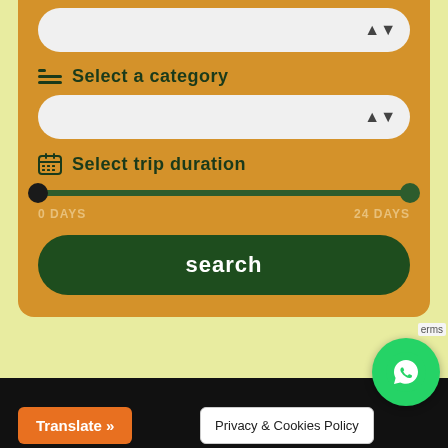[Figure (screenshot): Dropdown select box (empty) with arrow indicator]
Select a category
[Figure (screenshot): Dropdown select box (empty) with arrow indicator]
Select trip duration
[Figure (other): Range slider from 0 DAYS to 24 DAYS with two handles]
search
Translate »
Privacy & Cookies Policy
[Figure (logo): WhatsApp green circular button with phone icon]